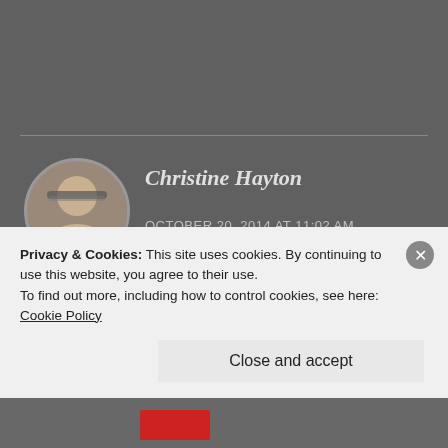Christine Hayton
OCTOBER 20, 2014 AT 11:02 AM
Great story – I loved it. True to the great Halloween tradition of murder and mayhem. You have mastered the art of making your readers use their own imagination – much more
Privacy & Cookies: This site uses cookies. By continuing to use this website, you agree to their use.
To find out more, including how to control cookies, see here: Cookie Policy
Close and accept